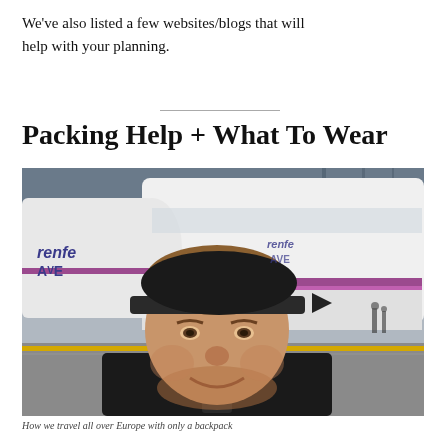We've also listed a few websites/blogs that will help with your planning.
Packing Help + What To Wear
[Figure (photo): Selfie of a man wearing a black cap and jacket standing in front of a white Renfe AVE high-speed train at a station platform]
How we travel all over Europe with only a backpack